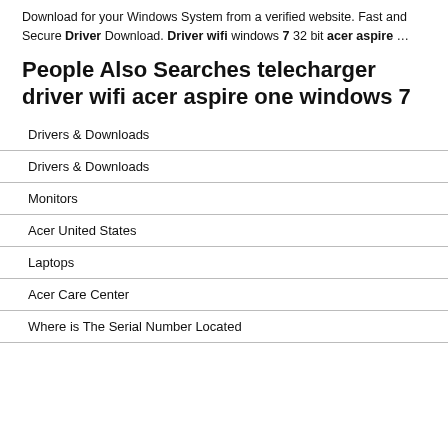Download for your Windows System from a verified website. Fast and Secure Driver Download. Driver wifi windows 7 32 bit acer aspire …
People Also Searches telecharger driver wifi acer aspire one windows 7
Drivers & Downloads
Drivers & Downloads
Monitors
Acer United States
Laptops
Acer Care Center
Where is The Serial Number Located